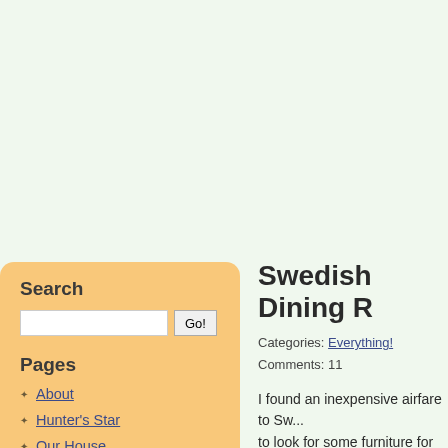Search
Pages
About
Hunter's Star
Our House
Swedish Dining R
Categories: Everything!
Comments: 11
I found an inexpensive airfare to Sw... to look for some furniture for our Sw... sleep this summer.  Instead, with To... room!